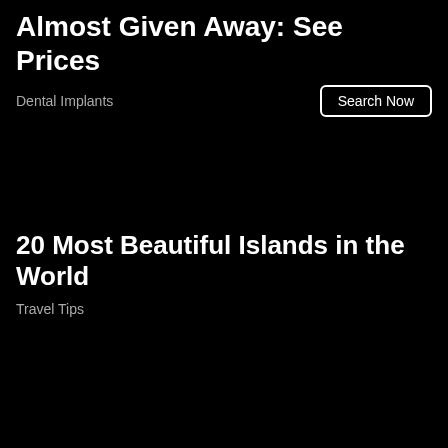Almost Given Away: See Prices
Dental Implants
Search Now
20 Most Beautiful Islands in the World
Travel Tips